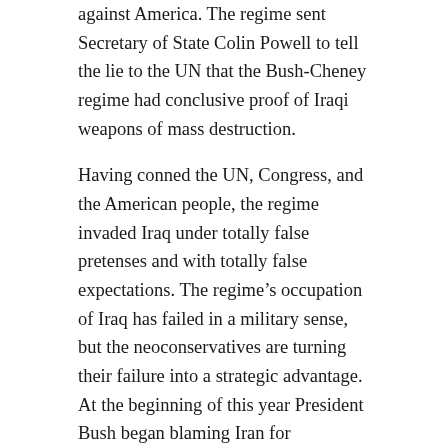against America. The regime sent Secretary of State Colin Powell to tell the lie to the UN that the Bush-Cheney regime had conclusive proof of Iraqi weapons of mass destruction.
Having conned the UN, Congress, and the American people, the regime invaded Iraq under totally false pretenses and with totally false expectations. The regime’s occupation of Iraq has failed in a military sense, but the neoconservatives are turning their failure into a strategic advantage. At the beginning of this year President Bush began blaming Iran for America’s embarrassing defeat by a few thousand lightly armed insurgents in Iraq.
Bush accuses Iran of arming the Iraqi insurgents, a charge that experts regard as improbable. The Iraqi insurgents are Sunni. They inflict casualties on our